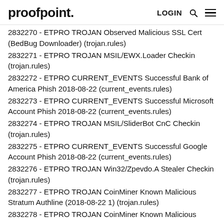proofpoint. LOGIN [search] [menu]
2832270 - ETPRO TROJAN Observed Malicious SSL Cert (BedBug Downloader) (trojan.rules)
2832271 - ETPRO TROJAN MSIL/EWX.Loader Checkin (trojan.rules)
2832272 - ETPRO CURRENT_EVENTS Successful Bank of America Phish 2018-08-22 (current_events.rules)
2832273 - ETPRO CURRENT_EVENTS Successful Microsoft Account Phish 2018-08-22 (current_events.rules)
2832274 - ETPRO TROJAN MSIL/SliderBot CnC Checkin (trojan.rules)
2832275 - ETPRO CURRENT_EVENTS Successful Google Account Phish 2018-08-22 (current_events.rules)
2832276 - ETPRO TROJAN Win32/Zpevdo.A Stealer Checkin (trojan.rules)
2832277 - ETPRO TROJAN CoinMiner Known Malicious Stratum Authline (2018-08-22 1) (trojan.rules)
2832278 - ETPRO TROJAN CoinMiner Known Malicious